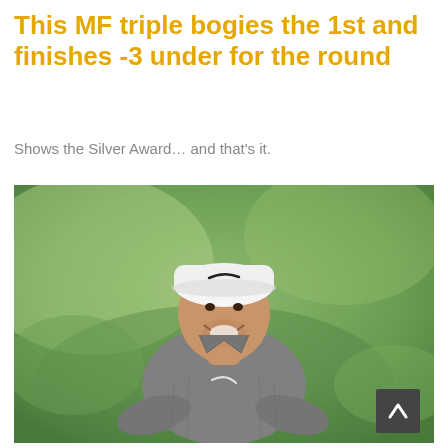This MF triple bogies the 1st and finishes -3 under for the round
Shows the Silver Award… and that's it.
[Figure (photo): A smiling golfer wearing a white Nike cap and grey Nike polo shirt, photographed outdoors on a golf course with a green blurred background. A dark scroll-to-top button with an upward chevron is visible in the bottom right of the image.]